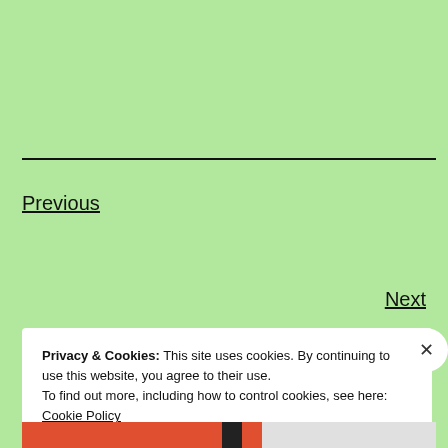Previous
Next
Privacy & Cookies: This site uses cookies. By continuing to use this website, you agree to their use.
To find out more, including how to control cookies, see here: Cookie Policy
Close and accept